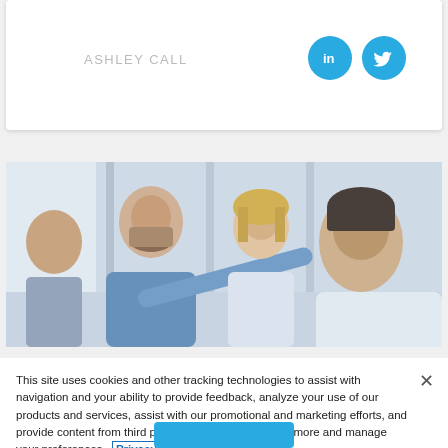ASHLEY CALL
[Figure (photo): Three people looking at something together in a bright office environment]
This site uses cookies and other tracking technologies to assist with navigation and your ability to provide feedback, analyze your use of our products and services, assist with our promotional and marketing efforts, and provide content from third parties. Click here to learn more and manage your preferences. Privacy Policy